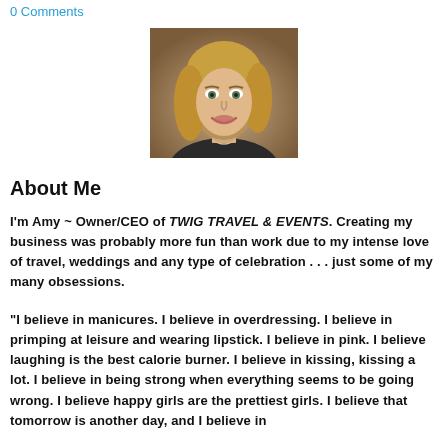0 Comments
[Figure (photo): Portrait photo of a blonde woman smiling, wearing a dark top and necklace]
About Me
I'm Amy ~ Owner/CEO of TWIG TRAVEL & EVENTS. Creating my business was probably more fun than work due to my intense love of travel, weddings and any type of celebration . . . just some of my many obsessions.
"I believe in manicures. I believe in overdressing. I believe in primping at leisure and wearing lipstick. I believe in pink. I believe laughing is the best calorie burner. I believe in kissing, kissing a lot. I believe in being strong when everything seems to be going wrong. I believe happy girls are the prettiest girls. I believe that tomorrow is another day, and I believe in